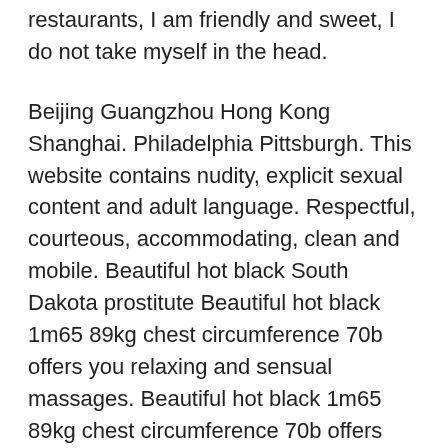restaurants, I am friendly and sweet, I do not take myself in the head.
Beijing Guangzhou Hong Kong Shanghai. Philadelphia Pittsburgh. This website contains nudity, explicit sexual content and adult language. Respectful, courteous, accommodating, clean and mobile. Beautiful hot black South Dakota prostitute Beautiful hot black 1m65 89kg chest circumference 70b offers you relaxing and sensual massages. Beautiful hot black 1m65 89kg chest circumference 70b offers you relaxing and sensual massages. Andorra la Vella. Alice, acsept everything Pre-booking now thru Oct.
All this in a relaxed and cosy atmosphere. A fine gentlemen is my desire. Beijing Guangzhou Hong Kong Shanghai. Bern Geneva Lucerne Zurich. Hello, Young woman of 25 years old White 1m68 thin with nice shape Proposes This is a very generous service to men A photo must be sent by Any